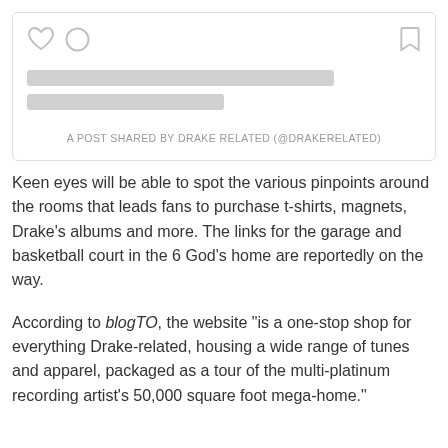[Figure (screenshot): Social media post placeholder card with heart and comment icons on the left, bookmark icon on the right, two skeleton loading bars for text, and caption reading 'A POST SHARED BY DRAKE RELATED (@DRAKERELATED)']
Keen eyes will be able to spot the various pinpoints around the rooms that leads fans to purchase t-shirts, magnets, Drake's albums and more. The links for the garage and basketball court in the 6 God's home are reportedly on the way.
According to blogTO, the website “is a one-stop shop for everything Drake-related, housing a wide range of tunes and apparel, packaged as a tour of the multi-platinum recording artist’s 50,000 square foot mega-home.”
While fans areobic is the saint place of Drake to review the